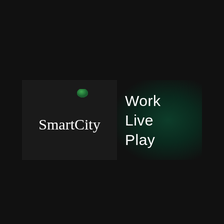[Figure (logo): SmartCity logo with green acorn/shield icon above 'SmartCity' text in serif font on dark background, next to 'Work Live Play' tagline text on dark green radial gradient background]